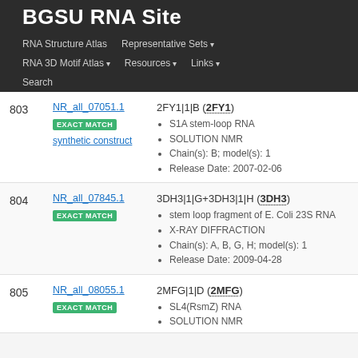BGSU RNA Site
RNA Structure Atlas | Representative Sets ▾ | RNA 3D Motif Atlas ▾ | Resources ▾ | Links ▾ | Search
| # | ID / Match | Entry Details |
| --- | --- | --- |
| 803 | NR_all_07051.1
EXACT MATCH
synthetic construct | 2FY1|1|B (2FY1)
• S1A stem-loop RNA
• SOLUTION NMR
• Chain(s): B; model(s): 1
• Release Date: 2007-02-06 |
| 804 | NR_all_07845.1
EXACT MATCH | 3DH3|1|G+3DH3|1|H (3DH3)
• stem loop fragment of E. Coli 23S RNA
• X-RAY DIFFRACTION
• Chain(s): A, B, G, H; model(s): 1
• Release Date: 2009-04-28 |
| 805 | NR_all_08055.1
EXACT MATCH | 2MFG|1|D (2MFG)
• SL4(RsmZ) RNA
• SOLUTION NMR |